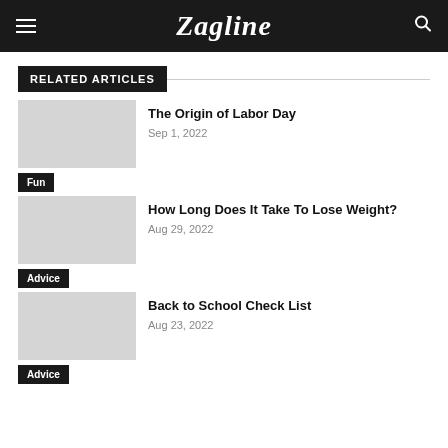Zagline
RELATED ARTICLES
The Origin of Labor Day
Sep 1, 2022
Fun
How Long Does It Take To Lose Weight?
Aug 29, 2022
Advice
Back to School Check List
Aug 23, 2022
Advice